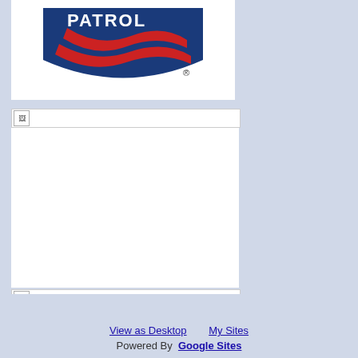[Figure (logo): National Ski Patrol logo with blue shield, red stripes, and text PATROL with registered trademark symbol]
[Figure (photo): Broken image placeholder 1]
[Figure (photo): Broken image placeholder 2]
California Snow Report
Subpages (1):   OEC First Aid
Comments
View as Desktop    My Sites    Powered By  Google Sites